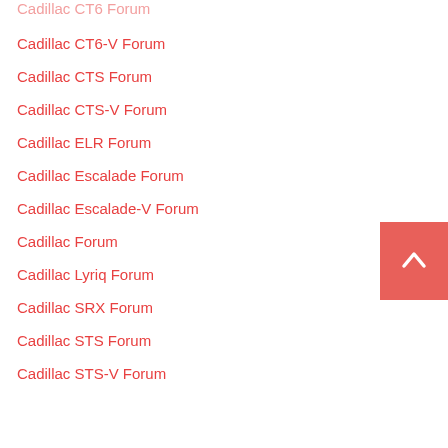Cadillac CT6-V Forum
Cadillac CTS Forum
Cadillac CTS-V Forum
Cadillac ELR Forum
Cadillac Escalade Forum
Cadillac Escalade-V Forum
Cadillac Forum
Cadillac Lyriq Forum
Cadillac SRX Forum
Cadillac STS Forum
Cadillac STS-V Forum